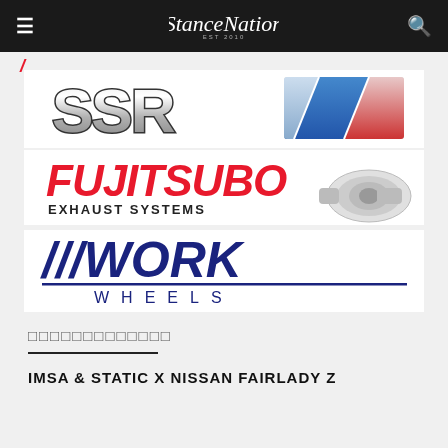StanceNation
[Figure (logo): SSR Wheels logo with blue and red diagonal stripe]
[Figure (logo): Fujitsubo Exhaust Systems logo in red and black]
[Figure (logo): Work Wheels logo in dark navy blue]
□□□□□□□□□□□□□
IMSA & STATIC X NISSAN FAIRLADY Z